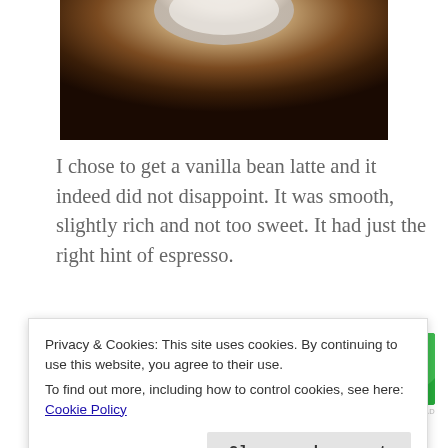[Figure (photo): Partial photo of a coffee drink on a dark wooden surface, cropped at the top of the page]
I chose to get a vanilla bean latte and it indeed did not disappoint. It was smooth, slightly rich and not too sweet. It had just the right hint of espresso.
[Figure (other): Jetpack advertisement banner with green background, Jetpack logo and 'Back up your site' button]
Bird's Nest Cafe was an amazing place to visit. I
Privacy & Cookies: This site uses cookies. By continuing to use this website, you agree to their use.
To find out more, including how to control cookies, see here: Cookie Policy